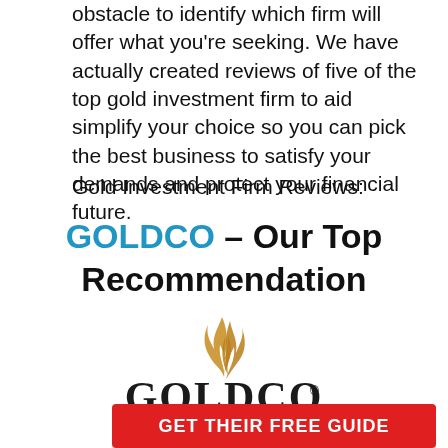obstacle to identify which firm will offer what you're seeking. We have actually created reviews of five of the top gold investment firm to aid simplify your choice so you can pick the best business to satisfy your demands and protect your financial future.
Gold Investment Firm Reviews:
GOLDCO – Our Top Recommendation
[Figure (logo): Goldco logo with golden flame/swirl above the text 'GOLDCO' in black serif font with registered trademark symbol]
GET THEIR FREE GUIDE